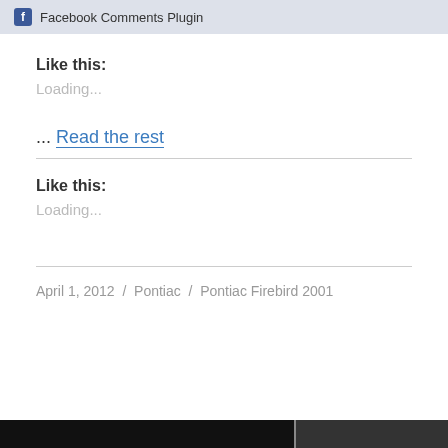Facebook Comments Plugin
Like this:
Loading...
... Read the rest
Like this:
Loading...
April 1, 2012 / Pontiac / Pontiac Firebird 2001